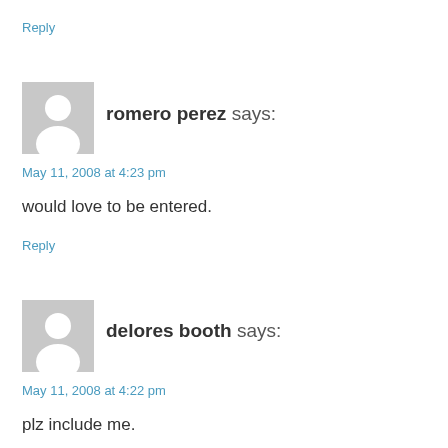Reply
[Figure (illustration): Generic user avatar placeholder icon (grey square with silhouette)]
romero perez says:
May 11, 2008 at 4:23 pm
would love to be entered.
Reply
[Figure (illustration): Generic user avatar placeholder icon (grey square with silhouette)]
delores booth says:
May 11, 2008 at 4:22 pm
plz include me.